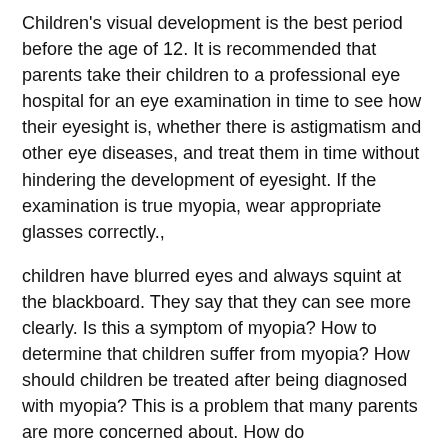Children's visual development is the best period before the age of 12. It is recommended that parents take their children to a professional eye hospital for an eye examination in time to see how their eyesight is, whether there is astigmatism and other eye diseases, and treat them in time without hindering the development of eyesight. If the examination is true myopia, wear appropriate glasses correctly.,
children have blurred eyes and always squint at the blackboard. They say that they can see more clearly. Is this a symptom of myopia? How to determine that children suffer from myopia? How should children be treated after being diagnosed with myopia? This is a problem that many parents are more concerned about. How do
and
distinguish true and false myopia in children?
and
if parents suspect that children suffer from myopia, they suggest to go to the hospital for mydriasis examination. The doctor will use